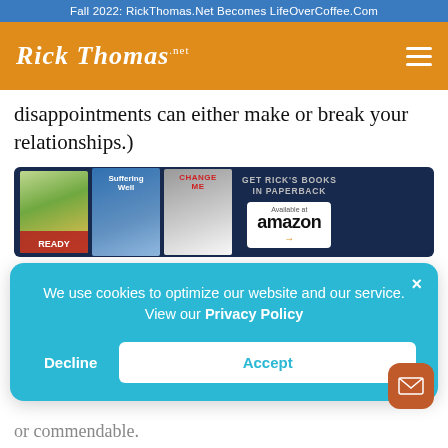Fall 2022: RickThomas.Net Becomes LifeOverCoffee.Com
[Figure (logo): Rick Thomas .net logo in white italic script on orange background with hamburger menu icon]
disappointments can either make or break your relationships.)
[Figure (infographic): Book banner showing three book covers (Ready, Suffering Well, Change Me) with text GET RICK'S BOOKS IN PAPERBACK Available at amazon]
[Figure (screenshot): Cookie consent popup on cyan background: We use cookies to optimize our website and our service. View our Privacy Policy. Buttons: Decline and Accept]
or commendable.